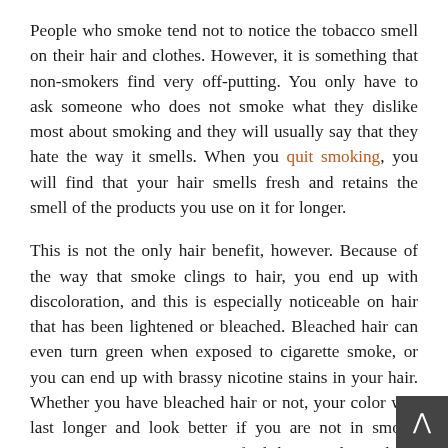People who smoke tend not to notice the tobacco smell on their hair and clothes. However, it is something that non-smokers find very off-putting. You only have to ask someone who does not smoke what they dislike most about smoking and they will usually say that they hate the way it smells. When you quit smoking, you will find that your hair smells fresh and retains the smell of the products you use on it for longer.
This is not the only hair benefit, however. Because of the way that smoke clings to hair, you end up with discoloration, and this is especially noticeable on hair that has been lightened or bleached. Bleached hair can even turn green when exposed to cigarette smoke, or you can end up with brassy nicotine stains in your hair. Whether you have bleached hair or not, your color will last longer and look better if you are not in smoky environments. You may even find that you do not have to wash your hair as often, and regular washing is actually bad for the hair. If you can get away with only washing your hair a couple of times a week then this is actually